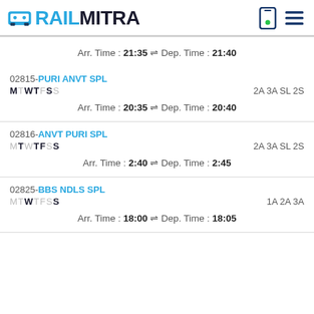RAILMITRA
Arr. Time : 21:35 ⇌ Dep. Time : 21:40
02815-PURI ANVT SPL MTWTFSS 2A 3A SL 2S Arr. Time : 20:35 ⇌ Dep. Time : 20:40
02816-ANVT PURI SPL MTWTFSS 2A 3A SL 2S Arr. Time : 2:40 ⇌ Dep. Time : 2:45
02825-BBS NDLS SPL MTWTFSS 1A 2A 3A Arr. Time : 18:00 ⇌ Dep. Time : 18:05